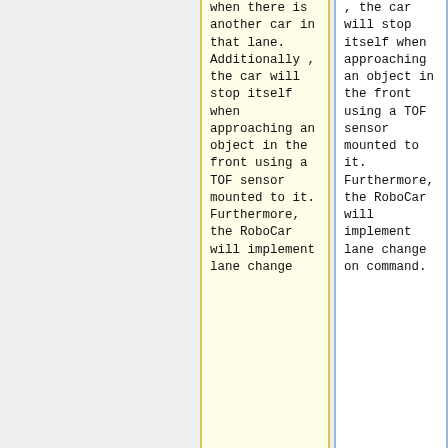when there is another car in that lane. Additionally, the car will stop itself when approaching an object in the front using a TOF sensor mounted to it. Furthermore, the RoboCar will implement lane change
, the car will stop itself when approaching an object in the front using a TOF sensor mounted to it. Furthermore, the RoboCar will implement lane change on command.